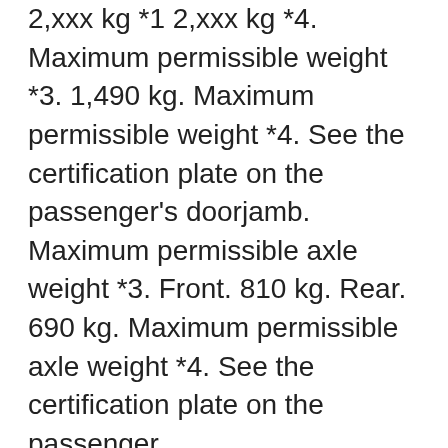2,xxx kg *1 2,xxx kg *4. Maximum permissible weight *3. 1,490 kg. Maximum permissible weight *4. See the certification plate on the passenger's doorjamb. Maximum permissible axle weight *3. Front. 810 kg. Rear. 690 kg. Maximum permissible axle weight *4. See the certification plate on the passenger
Search for new & used Honda Jazz Manual cars for sale in Australia. Read Honda Jazz Manual car reviews and compare Honda Jazz Manual prices and features at carsales.com.au. Jazz. Curb Weight *1. 1,007 – 1,044 kg *3. 1,075 – 1,078 kg *4. Curb Weight *2. 1,062 – 1,066 kg *3. 1,096 kg *4. Maximum permissible weight *3. 1,430 kg